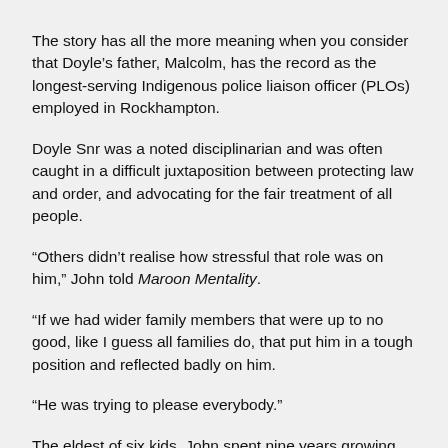The story has all the more meaning when you consider that Doyle's father, Malcolm, has the record as the longest-serving Indigenous police liaison officer (PLOs) employed in Rockhampton.
Doyle Snr was a noted disciplinarian and was often caught in a difficult juxtaposition between protecting law and order, and advocating for the fair treatment of all people.
“Others didn’t realise how stressful that role was on him,” John told Maroon Mentality.
“If we had wider family members that were up to no good, like I guess all families do, that put him in a tough position and reflected badly on him.
“He was trying to please everybody.”
The eldest of six kids, John spent nine years growing up alone with parents Malcolm and Deborah before younger sister Rudie (now